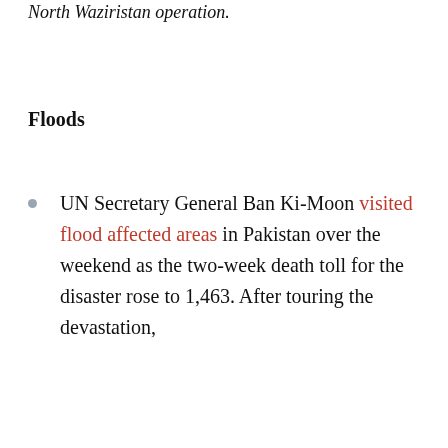North Waziristan operation.
Floods
UN Secretary General Ban Ki-Moon visited flood affected areas in Pakistan over the weekend as the two-week death toll for the disaster rose to 1,463. After touring the devastation,